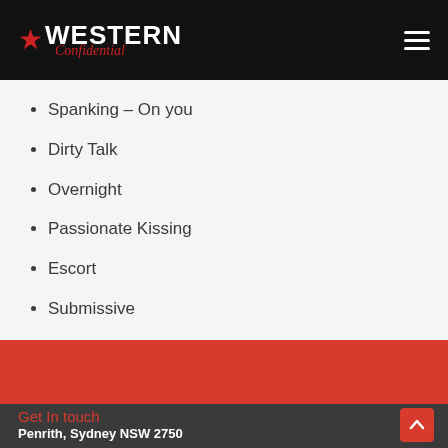Western Confidential
Spanking – On you
Dirty Talk
Overnight
Passionate Kissing
Escort
Submissive
Get In touch
Penrith, Sydney NSW 2750